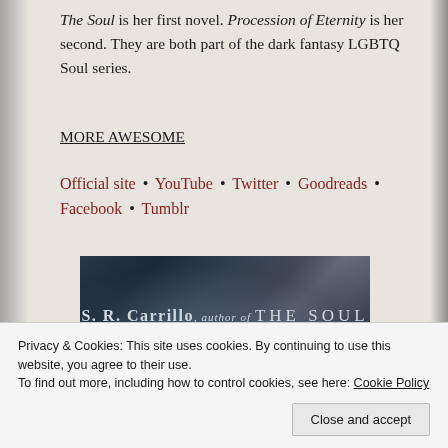The Soul is her first novel. Procession of Eternity is her second. They are both part of the dark fantasy LGBTQ Soul series.
MORE AWESOME
Official site • YouTube • Twitter • Goodreads • Facebook • Tumblr
[Figure (photo): Banner image: S. R. Carrillo, author of THE SOUL — dark artistic background with text overlay]
Advertisements
Privacy & Cookies: This site uses cookies. By continuing to use this website, you agree to their use.
To find out more, including how to control cookies, see here: Cookie Policy
Close and accept